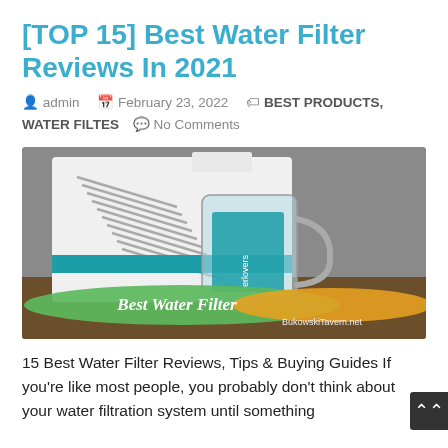[TOP 15] Best Water Filter Reviews In 2021
admin   February 23, 2022   BEST PRODUCTS, WATER FILTES   No Comments
[Figure (photo): Photo of a water filter appliance (white unit with teal accent) next to a glass pitcher on a wooden surface, with painted brush stroke overlay reading 'Best Water Filter' and watermark 'BukowskiTavern.net']
15 Best Water Filter Reviews, Tips & Buying Guides If you're like most people, you probably don't think about your water filtration system until something